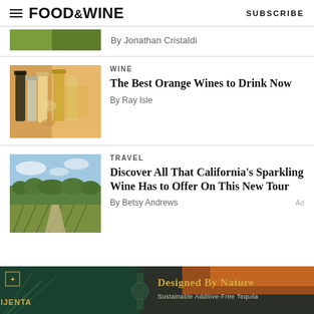FOOD&WINE  SUBSCRIBE
By Jonathan Cristaldi
WINE
The Best Orange Wines to Drink Now
By Ray Isle
TRAVEL
Discover All That California's Sparkling Wine Has to Offer On This New Tour
By Betsy Andrews
[Figure (photo): Advertisement banner for Mijenta tequila — 'Designed By Nature, Sustainable Additive-Free Tequila' on dark teal/orange background]